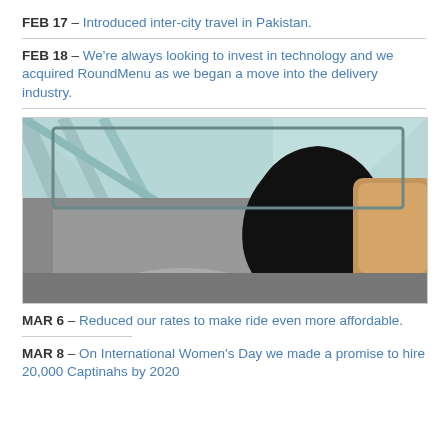FEB 17 – Introduced inter-city travel in Pakistan.
FEB 18 – We're always looking to invest in technology and we acquired RoundMenu as we began a move into the delivery industry.
[Figure (photo): A smiling woman wearing a black hijab seated in the driver's seat of a car, with a modern architectural background visible through the window.]
MAR 6 – Reduced our rates to make ride even more affordable.
MAR 8 – On International Women's Day we made a promise to hire 20,000 Captinahs by 2020